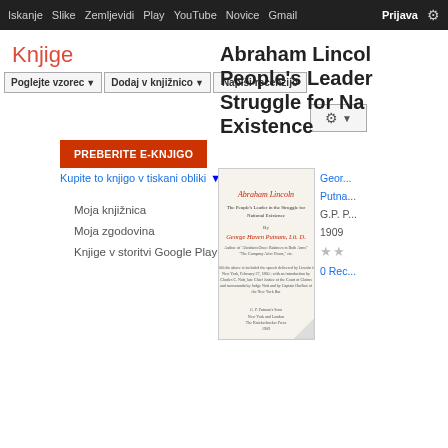Iskanje Slike Zemljevidi Play YouTube Novice Gmail Prijava
Knjige
Poglejte vzorec | Dodaj v knjižnico | Napiši recenzijo
PREBERITE E-KNJIGO
Kupite to knjigo v tiskani obliki
Moja knjižnica
Moja zgodovina
Knjige v storitvi Google Play
Abraham Lincoln: People's Leader in the Struggle for National Existence
[Figure (photo): Book cover of Abraham Lincoln: The People's Leader in the Struggle for National Existence by George H. Putnam, G.P. Putnam's Sons, published 1909]
George H. Putnam
G.P. P...
1909
★★
0 Rec...